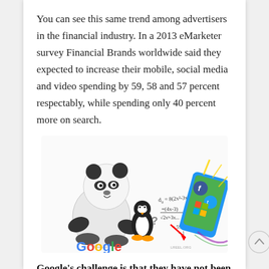You can see this same trend among advertisers in the financial industry. In a 2013 eMarketer survey Financial Brands worldwide said they expected to increase their mobile, social media and video spending by 59, 58 and 57 percent respectably, while spending only 40 percent more on search.
[Figure (illustration): Illustration showing Google Panda and Penguin mascots with math equations, alongside social media icons (Facebook, Twitter, Windows) on a tablet/phone, with 'Google' logo at the bottom. Watermark: LREEL.ORG]
Google's challenge is that they have not been able to construct a successful social media strategy, and what is even worse,